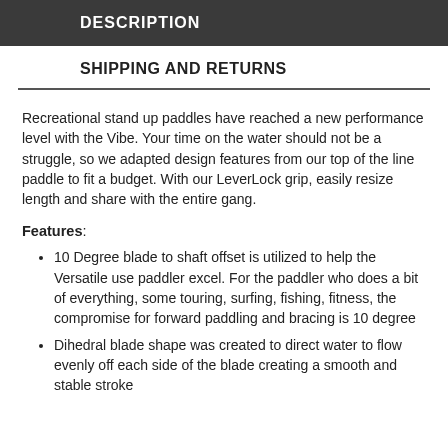DESCRIPTION
SHIPPING AND RETURNS
Recreational stand up paddles have reached a new performance level with the Vibe. Your time on the water should not be a struggle, so we adapted design features from our top of the line paddle to fit a budget. With our LeverLock grip, easily resize length and share with the entire gang.
Features:
10 Degree blade to shaft offset is utilized to help the Versatile use paddler excel. For the paddler who does a bit of everything, some touring, surfing, fishing, fitness, the compromise for forward paddling and bracing is 10 degree
Dihedral blade shape was created to direct water to flow evenly off each side of the blade creating a smooth and stable stroke